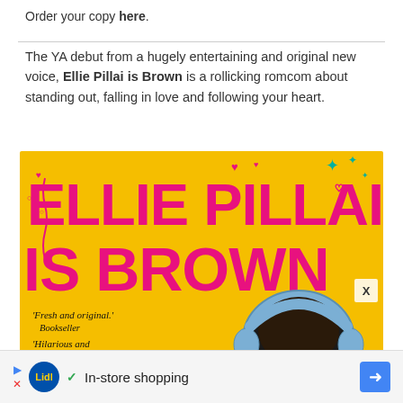Order your copy here.
The YA debut from a hugely entertaining and original new voice, Ellie Pillai is Brown is a rollicking romcom about standing out, falling in love and following your heart.
[Figure (illustration): Book cover for 'Ellie Pillai is Brown' — bright yellow background with large magenta/pink bold title text 'ELLIE PILLAI IS BROWN', decorative hearts and stars, blurbs 'Fresh and original.' Bookseller and 'Hilarious and heart-warming.', and an illustration of a girl wearing blue headphones with long dark hair.]
In-store shopping